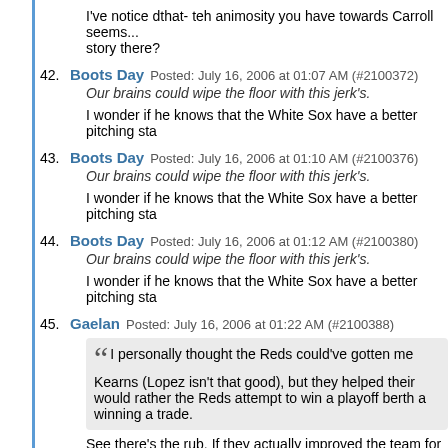I've notice dthat- teh animosity you have towards Carroll seems... story there?
42. Boots Day Posted: July 16, 2006 at 01:07 AM (#2100372)
Our brains could wipe the floor with this jerk's.
I wonder if he knows that the White Sox have a better pitching sta
43. Boots Day Posted: July 16, 2006 at 01:10 AM (#2100376)
Our brains could wipe the floor with this jerk's.
I wonder if he knows that the White Sox have a better pitching sta
44. Boots Day Posted: July 16, 2006 at 01:12 AM (#2100380)
Our brains could wipe the floor with this jerk's.
I wonder if he knows that the White Sox have a better pitching sta
45. Gaelan Posted: July 16, 2006 at 01:22 AM (#2100388)
I personally thought the Reds could've gotten me Kearns (Lopez isn't that good), but they helped their would rather the Reds attempt to win a playoff berth a winning a trade.
See there's the rub. If they actually improved the team for this sea been panned so much. But there's now way they improved the te much worse team than they were before the trade. The only way